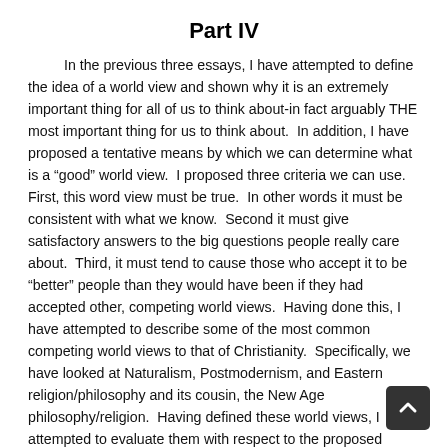Part IV
In the previous three essays, I have attempted to define the idea of a world view and shown why it is an extremely important thing for all of us to think about-in fact arguably THE most important thing for us to think about.  In addition, I have proposed a tentative means by which we can determine what is a "good" world view.  I proposed three criteria we can use.  First, this word view must be true.  In other words it must be consistent with what we know.  Second it must give satisfactory answers to the big questions people really care about.  Third, it must tend to cause those who accept it to be "better" people than they would have been if they had accepted other, competing world views.  Having done this, I have attempted to describe some of the most common competing world views to that of Christianity.  Specifically, we have looked at Naturalism, Postmodernism, and Eastern religion/philosophy and its cousin, the New Age philosophy/religion.  Having defined these world views, I attempted to evaluate them with respect to the proposed criteria for a "good" world view.  Obviously, this treatment is not